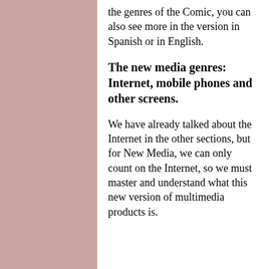the genres of the Comic, you can also see more in the version in Spanish or in English.
The new media genres: Internet, mobile phones and other screens.
We have already talked about the Internet in the other sections, but for New Media, we can only count on the Internet, so we must master and understand what this new version of multimedia products is.